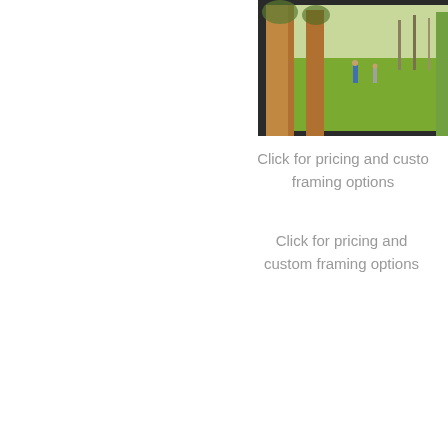[Figure (photo): A framed painting or photograph showing a savanna/park landscape with tall trees, green grass, and two human figures standing in the scene. The frame is dark/black. The image is partially visible, cropped at the right edge of the page.]
Click for pricing and custom framing options
Click for pricing and custom framing options